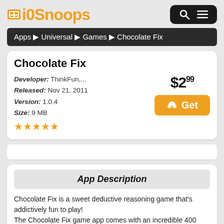iOSnoops
Apps ▶ Universal ▶ Games ▶ Chocolate Fix
Chocolate Fix
Developer: ThinkFun,...
Released: Nov 21, 2011
Version: 1.0.4
Size: 9 MB
$2.99  Get
App Description
Chocolate Fix is a sweet deductive reasoning game that's addictively fun to play!
The Chocolate Fix game app comes with an incredible 400 challenges ranging from Easy to Expert! To complete a challenge, you must use the clues provided to fill the tray by placing the nine chocolate pieces in their correct positions. Similar to Sudoku, you must examine all clues carefully before making a move.